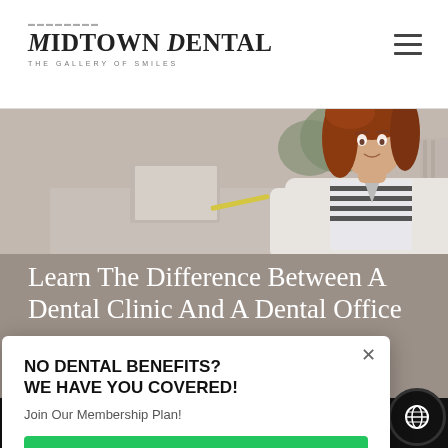Midtown Dental — The Gallery of Smiles
[Figure (photo): Woman with red hair wearing a white blazer over a striped shirt, standing in a dental office with plants in the background]
Learn The Difference Between A Dental Clinic And A Dental Office
...as dental office and ...ably. The confusion is ...are not exactly the ...s have to contain a ...e also dental clinics
NO DENTAL BENEFITS? WE HAVE YOU COVERED!
Join Our Membership Plan!
LEARN MORE